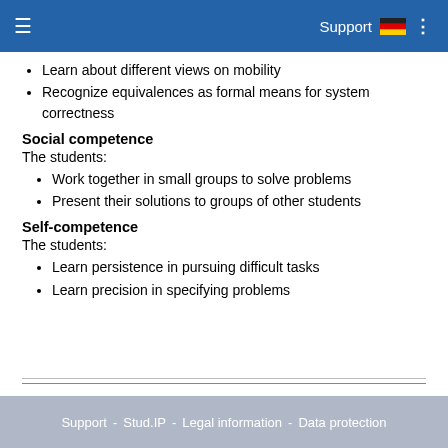Support
Learn about different views on mobility
Recognize equivalences as formal means for system correctness
Social competence
The students:
Work together in small groups to solve problems
Present their solutions to groups of other students
Self-competence
The students:
Learn persistence in pursuing difficult tasks
Learn precision in specifying problems
Support - Stud.IP - Legal information - Data protection